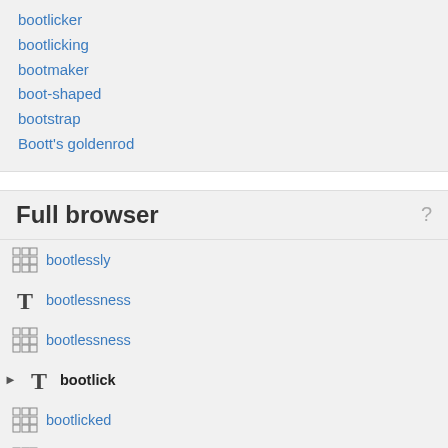bootlicker
bootlicking
bootmaker
boot-shaped
bootstrap
Boott's goldenrod
Full browser
bootlessly
bootlessness
bootlessness
bootlick
bootlicked
bootlicker
bootlickers
bootlicking